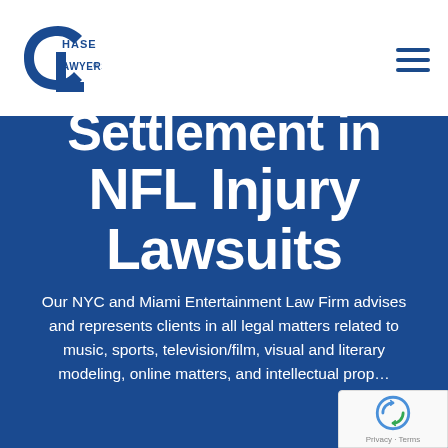[Figure (logo): Chase Lawyers logo — stylized CL monogram in dark blue with text CHASE LAWYERS with registered trademark symbol]
Settlement in NFL Injury Lawsuits
Our NYC and Miami Entertainment Law Firm advises and represents clients in all legal matters related to music, sports, television/film, visual and literary modeling, online matters, and intellectual prop...